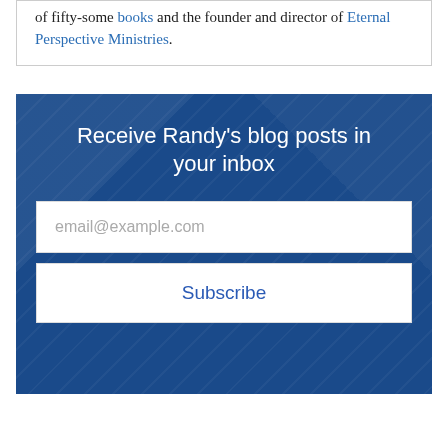of fifty-some books and the founder and director of Eternal Perspective Ministries.
Receive Randy's blog posts in your inbox
email@example.com
Subscribe